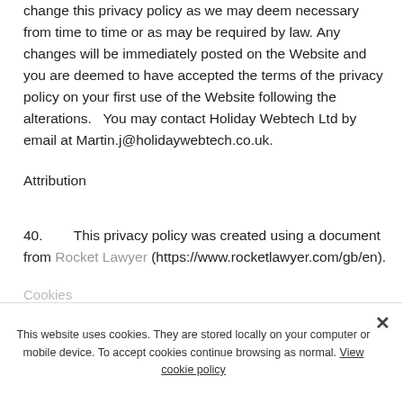change this privacy policy as we may deem necessary from time to time or as may be required by law. Any changes will be immediately posted on the Website and you are deemed to have accepted the terms of the privacy policy on your first use of the Website following the alterations.   You may contact Holiday Webtech Ltd by email at Martin.j@holidaywebtech.co.uk.
Attribution
40.        This privacy policy was created using a document from Rocket Lawyer (https://www.rocketlawyer.com/gb/en).
29 March 2021
Cookies
Below is a list of the cookies we use.  We have tried to ensure this is complete and up to date, but if you think
This website uses cookies. They are stored locally on your computer or mobile device. To accept cookies continue browsing as normal. View cookie policy